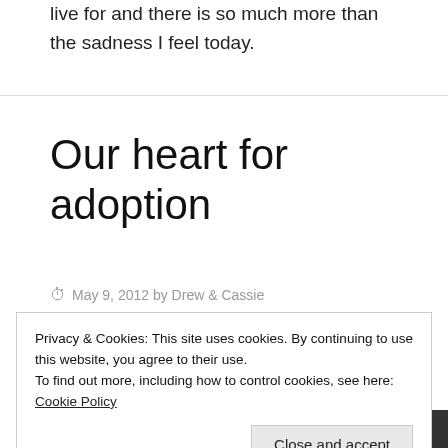live for and there is so much more than the sadness I feel today.
Our heart for adoption
May 9, 2012 by Drew & Cassie
Privacy & Cookies: This site uses cookies. By continuing to use this website, you agree to their use.
To find out more, including how to control cookies, see here: Cookie Policy
Close and accept
[Figure (photo): Partial photo strip at bottom showing people, with text overlay reading 'to benefit Drew & Cassie Jackson's']